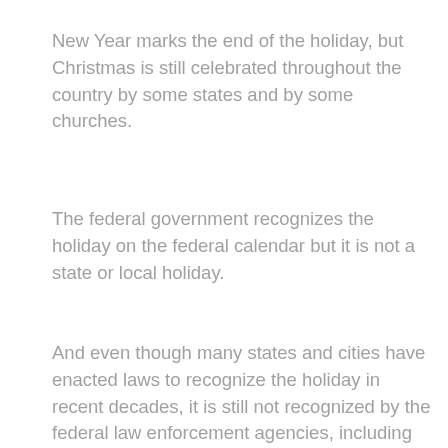New Year marks the end of the holiday, but Christmas is still celebrated throughout the country by some states and by some churches.
The federal government recognizes the holiday on the federal calendar but it is not a state or local holiday.
And even though many states and cities have enacted laws to recognize the holiday in recent decades, it is still not recognized by the federal law enforcement agencies, including federal law, which are responsible for enforcing federal law on the holiday day.
For a time, the federal holiday was the official holiday of the National Park Service, the National Marine Fisheries Service, and other agencies that manage